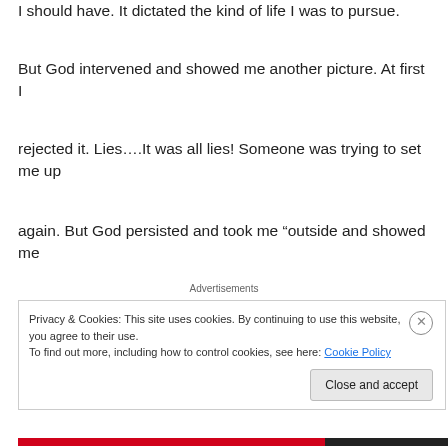I should have. It dictated the kind of life I was to pursue.
But God intervened and showed me another picture. At first I
rejected it. Lies….It was all lies! Someone was trying to set me up
again. But God persisted and took me “outside and showed me
Advertisements
Privacy & Cookies: This site uses cookies. By continuing to use this website, you agree to their use.
To find out more, including how to control cookies, see here: Cookie Policy
Close and accept